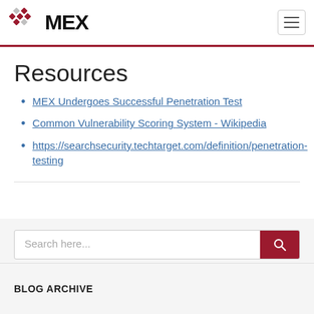MEX
Resources
MEX Undergoes Successful Penetration Test
Common Vulnerability Scoring System - Wikipedia
https://searchsecurity.techtarget.com/definition/penetration-testing
Search here...
BLOG ARCHIVE